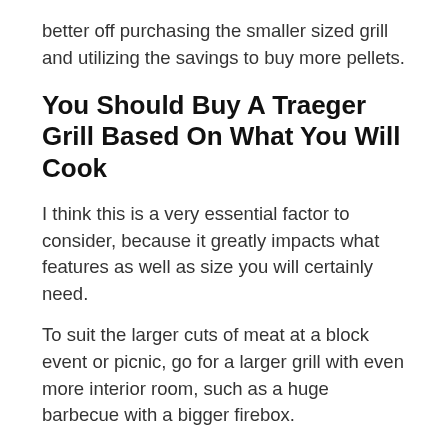better off purchasing the smaller sized grill and utilizing the savings to buy more pellets.
You Should Buy A Traeger Grill Based On What You Will Cook
I think this is a very essential factor to consider, because it greatly impacts what features as well as size you will certainly need.
To suit the larger cuts of meat at a block event or picnic, go for a larger grill with even more interior room, such as a huge barbecue with a bigger firebox.
Smaller roast are more probable to be suitable for people who just intend to barbecue the occasional hamburger or sausage sometimes.